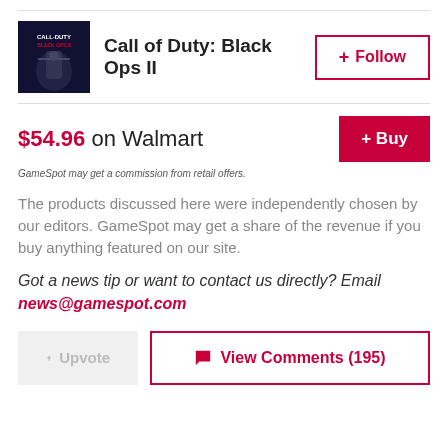[Figure (photo): Call of Duty: Black Ops II game cover art - dark image with soldier figure]
Call of Duty: Black Ops II
$54.96 on Walmart
GameSpot may get a commission from retail offers.
The products discussed here were independently chosen by our editors. GameSpot may get a share of the revenue if you buy anything featured on our site.
Got a news tip or want to contact us directly? Email news@gamespot.com
View Comments (195)